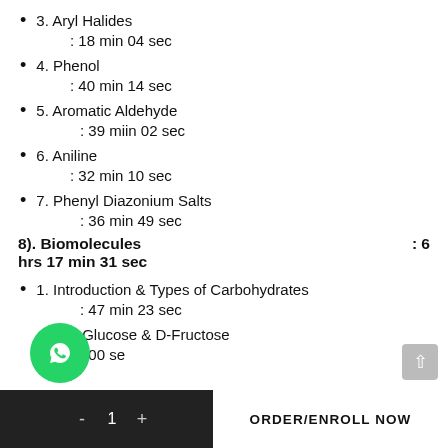3.  Aryl Halides
    : 18 min 04 sec
4.  Phenol
    : 40 min 14 sec
5.  Aromatic Aldehyde
       : 39 miin 02 sec
6. Aniline
   : 32 min 10 sec
7. Phenyl Diazonium Salts
       : 36 min 49 sec
8). Biomolecules                                                    : 6 hrs 17 min 31 sec
1. Introduction & Types of Carbohydrates
       : 47 min 23 sec
2. D-Glucose & D-Fructose
       : 00 sec…
- 1 +   ORDER/ENROLL NOW